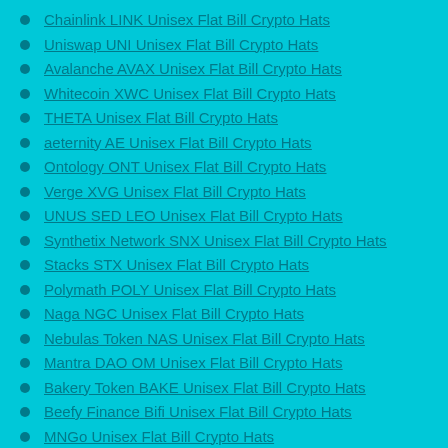Chainlink LINK Unisex Flat Bill Crypto Hats
Uniswap UNI Unisex Flat Bill Crypto Hats
Avalanche AVAX Unisex Flat Bill Crypto Hats
Whitecoin XWC Unisex Flat Bill Crypto Hats
THETA Unisex Flat Bill Crypto Hats
aeternity AE Unisex Flat Bill Crypto Hats
Ontology ONT Unisex Flat Bill Crypto Hats
Verge XVG Unisex Flat Bill Crypto Hats
UNUS SED LEO Unisex Flat Bill Crypto Hats
Synthetix Network SNX Unisex Flat Bill Crypto Hats
Stacks STX Unisex Flat Bill Crypto Hats
Polymath POLY Unisex Flat Bill Crypto Hats
Naga NGC Unisex Flat Bill Crypto Hats
Nebulas Token NAS Unisex Flat Bill Crypto Hats
Mantra DAO OM Unisex Flat Bill Crypto Hats
Bakery Token BAKE Unisex Flat Bill Crypto Hats
Beefy Finance Bifi Unisex Flat Bill Crypto Hats
MNGo Unisex Flat Bill Crypto Hats